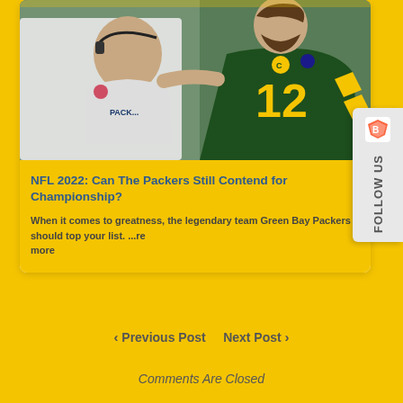[Figure (photo): Photo of Green Bay Packers coach and quarterback #12 Aaron Rodgers on the sideline, wearing green and yellow uniforms]
NFL 2022: Can The Packers Still Contend for Championship?
When it comes to greatness, the legendary team Green Bay Packers should top your list. ...read more
< Previous Post   Next Post >
Comments Are Closed